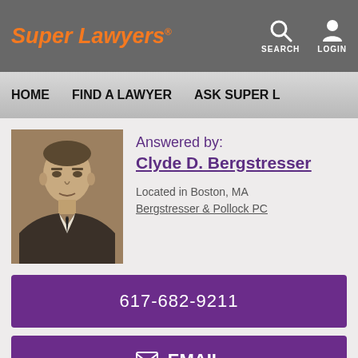Super Lawyers® — SEARCH LOGIN
HOME   FIND A LAWYER   ASK SUPER L...
[Figure (photo): Headshot of Clyde D. Bergstresser, a middle-aged man in a dark suit with striped tie, black and white/sepia photo]
Answered by: Clyde D. Bergstresser
Located in Boston, MA
Bergstresser & Pollock PC
617-682-9211
EMAIL